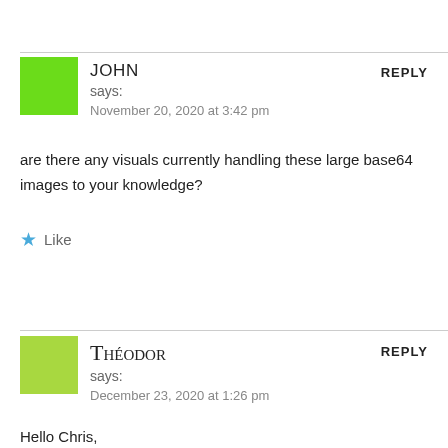JOHN says:
November 20, 2020 at 3:42 pm
REPLY
are there any visuals currently handling these large base64 images to your knowledge?
Like
THÉODOR says:
December 23, 2020 at 1:26 pm
REPLY
Hello Chris,
Thank you, it works like a charm. I'm using Power bi report builder with a